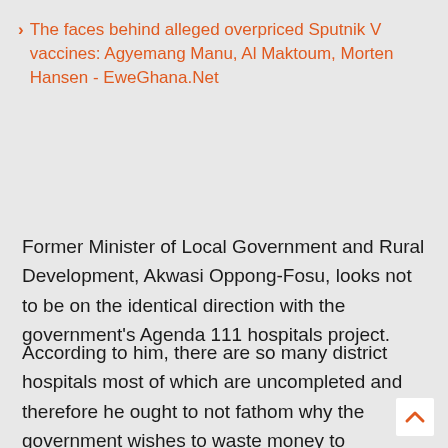The faces behind alleged overpriced Sputnik V vaccines: Agyemang Manu, Al Maktoum, Morten Hansen - EweGhana.Net
Former Minister of Local Government and Rural Development, Akwasi Oppong-Fosu, looks not to be on the identical direction with the government's Agenda 111 hospitals project.
According to him, there are so many district hospitals most of which are uncompleted and therefore he ought to not fathom why the government wishes to waste money to construct new ones.